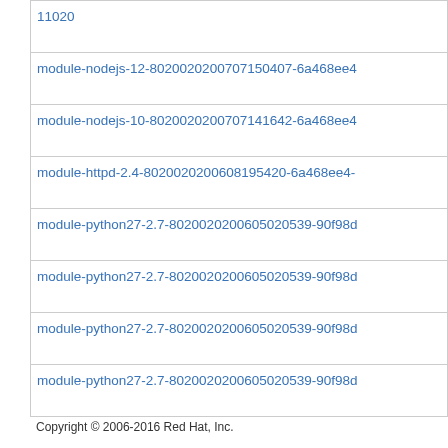| 11020 |
| module-nodejs-12-8020020200707150407-6a468ee4 |
| module-nodejs-10-8020020200707141642-6a468ee4 |
| module-httpd-2.4-8020020200608195420-6a468ee4- |
| module-python27-2.7-8020020200605020539-90f98d |
| module-python27-2.7-8020020200605020539-90f98d |
| module-python27-2.7-8020020200605020539-90f98d |
| module-python27-2.7-8020020200605020539-90f98d |
Copyright © 2006-2016 Red Hat, Inc.